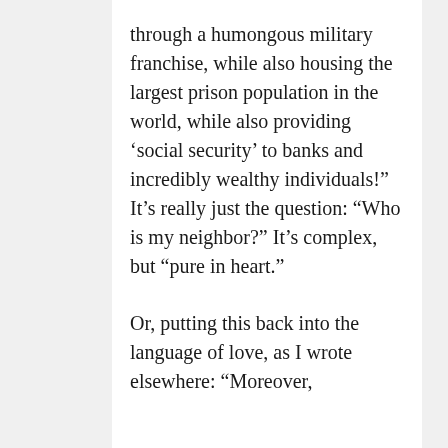through a humongous military franchise, while also housing the largest prison population in the world, while also providing ‘social security’ to banks and incredibly wealthy individuals!” It’s really just the question: “Who is my neighbor?” It’s complex, but “pure in heart.”
Or, putting this back into the language of love, as I wrote elsewhere: “Moreover,